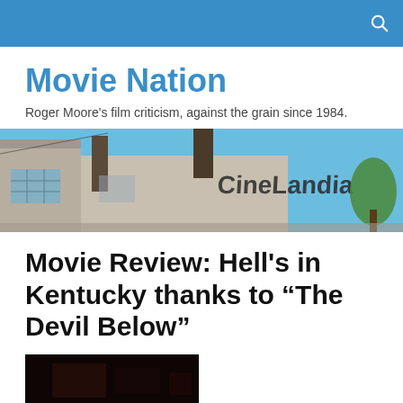Movie Nation
Movie Nation
Roger Moore's film criticism, against the grain since 1984.
[Figure (photo): Exterior of a worn building with 'Cinelandia' painted on its facade, against a blue sky with a tree visible on the right.]
Movie Review: Hell's in Kentucky thanks to “The Devil Below”
[Figure (photo): Dark movie still, largely black with some reddish-brown tones, from 'The Devil Below'.]